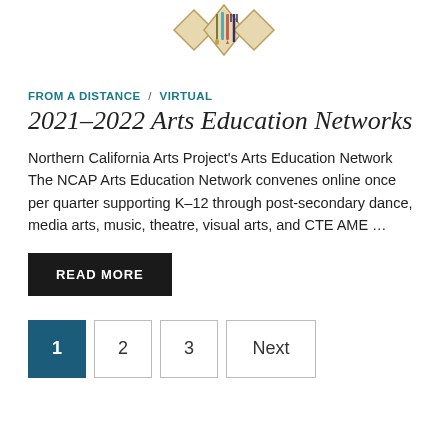[Figure (logo): Decorative logo/emblem with diamond shapes and art tools (paintbrushes, pencil) partially visible at top of page]
FROM A DISTANCE / VIRTUAL
2021–2022 Arts Education Networks
Northern California Arts Project's Arts Education Network The NCAP Arts Education Network convenes online once per quarter supporting K–12 through post-secondary dance, media arts, music, theatre, visual arts, and CTE AME …
READ MORE
1
2
3
Next